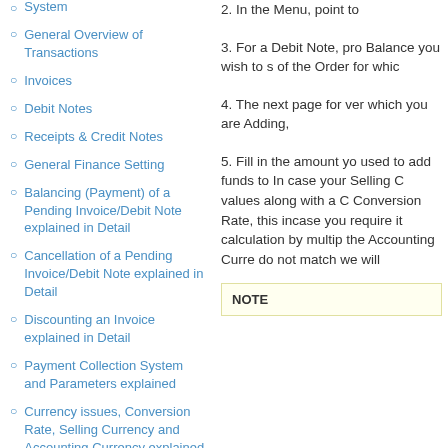System
General Overview of Transactions
Invoices
Debit Notes
Receipts & Credit Notes
General Finance Setting
Balancing (Payment) of a Pending Invoice/Debit Note explained in Detail
Cancellation of a Pending Invoice/Debit Note explained in Detail
Discounting an Invoice explained in Detail
Payment Collection System and Parameters explained
Currency issues, Conversion Rate, Selling Currency and Accounting Currency explained
2. In the Menu, point to
3. For a Debit Note, pro Balance you wish to s of the Order for whic
4. The next page for ver which you are Adding,
5. Fill in the amount yo used to add funds to In case your Selling C values along with a C Conversion Rate, this incase you require it calculation by multip the Accounting Curre do not match we will
NOTE